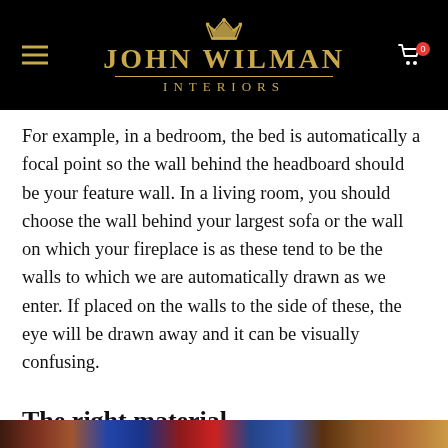JOHN WILMAN INTERIORS
For example, in a bedroom, the bed is automatically a focal point so the wall behind the headboard should be your feature wall. In a living room, you should choose the wall behind your largest sofa or the wall on which your fireplace is as these tend to be the walls to which we are automatically drawn as we enter. If placed on the walls to the side of these, the eye will be drawn away and it can be visually confusing.
The right material
[Figure (photo): Colourful fabric or wallpaper samples strip at bottom of page]